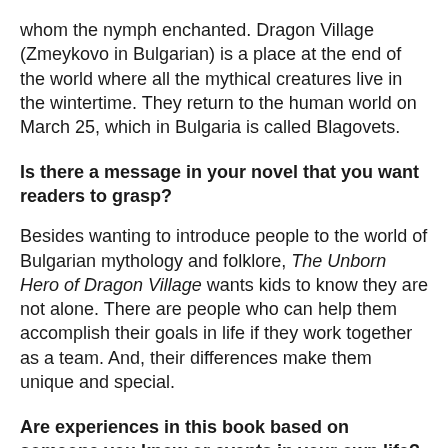whom the nymph enchanted. Dragon Village (Zmeykovo in Bulgarian) is a place at the end of the world where all the mythical creatures live in the wintertime. They return to the human world on March 25, which in Bulgaria is called Blagovets.
Is there a message in your novel that you want readers to grasp?
Besides wanting to introduce people to the world of Bulgarian mythology and folklore, The Unborn Hero of Dragon Village wants kids to know they are not alone. There are people who can help them accomplish their goals in life if they work together as a team. And, their differences make them unique and special.
Are experiences in this book based on someone you know or events in your own life?